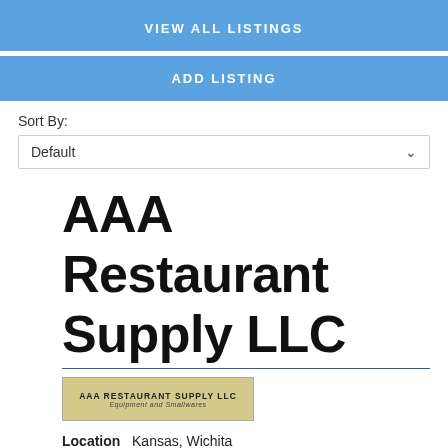VIEW ALL LISTINGS
ADD LISTING
Sort By:
Default
AAA Restaurant Supply LLC
[Figure (logo): AAA Restaurant Supply LLC logo — olive/khaki background with company name and tagline 'Equipment and Smallwares']
Location   Kansas, Wichita
Description
AAA Restaurant Supply is a Wichita-based family-owned business that has served restaurants and commercial-grade kitchens for